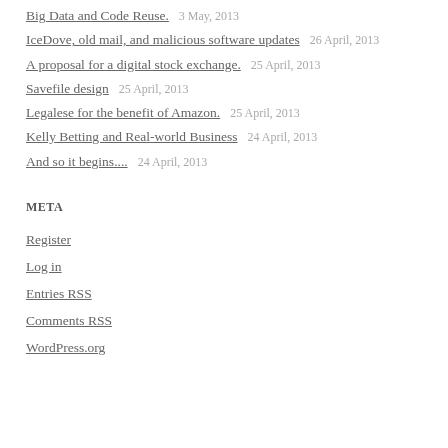Big Data and Code Reuse.   3 May, 2013
IceDove, old mail, and malicious software updates   26 April, 2013
A proposal for a digital stock exchange.   25 April, 2013
Savefile design   25 April, 2013
Legalese for the benefit of Amazon.   25 April, 2013
Kelly Betting and Real-world Business   24 April, 2013
And so it begins....   24 April, 2013
META
Register
Log in
Entries RSS
Comments RSS
WordPress.org